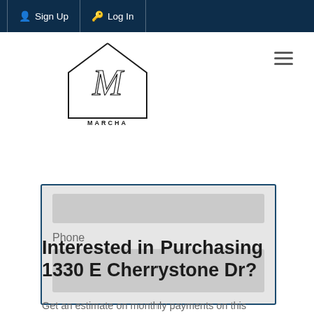Sign Up  Log In
[Figure (logo): Marcha Real Estate Team logo — stylized M in a house outline with text MARCHA REAL ESTATE TEAM below]
Phone
Interested in Purchasing 1330 E Cherrystone Dr?
Get an estimate on monthly payments on this